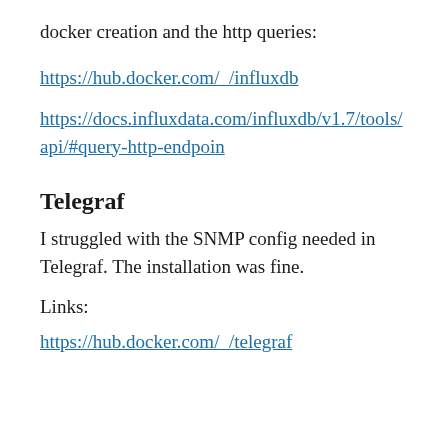docker creation and the http queries:
https://hub.docker.com/_/influxdb
https://docs.influxdata.com/influxdb/v1.7/tools/api/#query-http-endpoin
Telegraf
I struggled with the SNMP config needed in Telegraf. The installation was fine.
Links:
https://hub.docker.com/_/telegraf